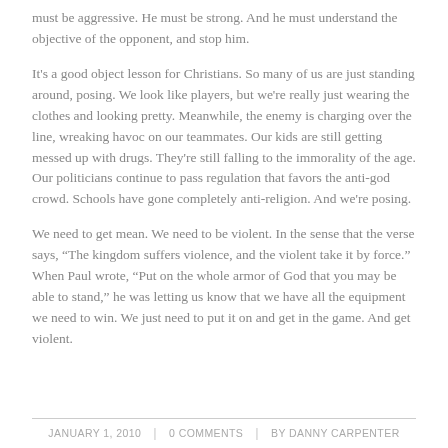must be aggressive.  He must be strong.  And he must understand the objective of the opponent, and stop him.
It's a good object lesson for Christians.   So many of us are just standing around, posing.  We look like players, but we're really just wearing the clothes and looking pretty.  Meanwhile, the enemy is charging over the line, wreaking havoc on our teammates.   Our kids are still getting messed up with drugs.  They're still falling to the immorality of the age.  Our politicians continue to pass regulation that favors the anti-god crowd.  Schools have gone completely anti-religion.  And we're posing.
We need to get mean. We need to be violent.  In the sense that the verse says, “The kingdom suffers violence, and the violent take it by force.”  When Paul wrote, “Put on the whole armor of God that you may be able to stand,” he was letting us know that we have all the equipment we need to win.  We just need to put it on and get in the game.  And get violent.
JANUARY 1, 2010   0 COMMENTS   BY DANNY CARPENTER